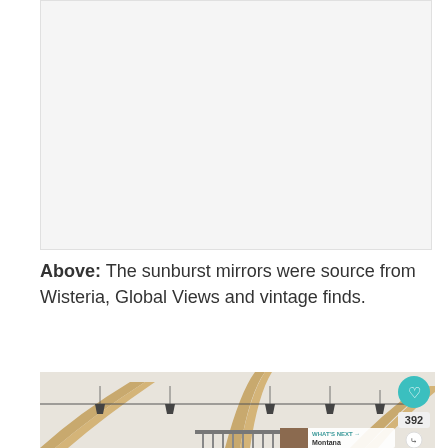[Figure (photo): White/light gray advertisement placeholder rectangle at top of page]
Above: The sunburst mirrors were source from Wisteria, Global Views and vintage finds.
[Figure (photo): Interior ceiling photo showing exposed wood beam arches, track lighting with pendant fixtures, and a rectangular chandelier visible at bottom. Social buttons (heart with 392, share) on the right edge. 'WHAT'S NEXT → Montana mountain...' thumbnail in bottom right corner.]